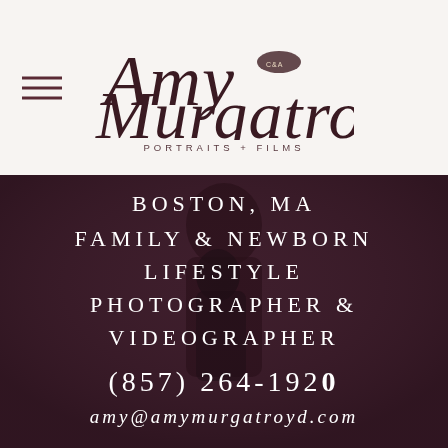[Figure (logo): Amy Murgatroyd Portraits + Films script logo with small oval nest/bird badge, hamburger menu icon on the left]
[Figure (photo): Dark moody portrait photo of a parent hugging a child, warm dark burgundy/maroon tones overlay. Text overlaid on image: BOSTON, MA FAMILY & NEWBORN LIFESTYLE PHOTOGRAPHER & VIDEOGRAPHER, phone number (857) 264-1920, email amy@amymurgatroyd.com]